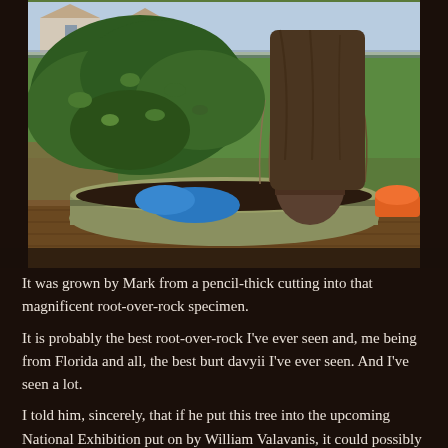[Figure (photo): A bonsai-style ficus tree with dramatic exposed root-over-rock formation, planted in a wide oval ceramic pot with green-brown glaze. The tree sits on a wooden surface outdoors in a garden setting. Background shows green lawn, garden beds, a fence, houses, and various colorful items (blue and orange objects) on the table behind the pot.]
It was grown by Mark from a pencil-thick cutting into that magnificent root-over-rock specimen.
It is probably the best root-over-rock I've ever seen and, me being from Florida and all, the best burt davyii I've ever seen. And I've seen a lot.
I told him, sincerely, that if he put this tree into the upcoming National Exhibition put on by William Valavanis, it could possibly